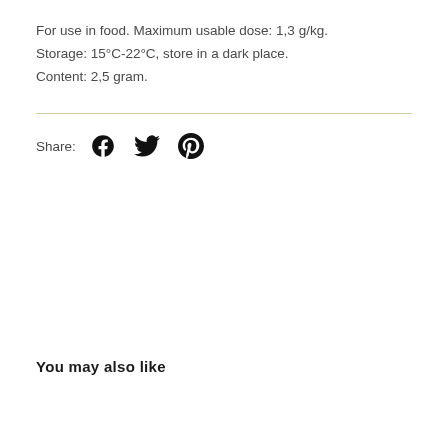For use in food. Maximum usable dose: 1,3 g/kg.
Storage: 15°C-22°C, store in a dark place.
Content: 2,5 gram.
[Figure (other): Social share icons: Facebook, Twitter, Pinterest with 'Share:' label]
You may also like